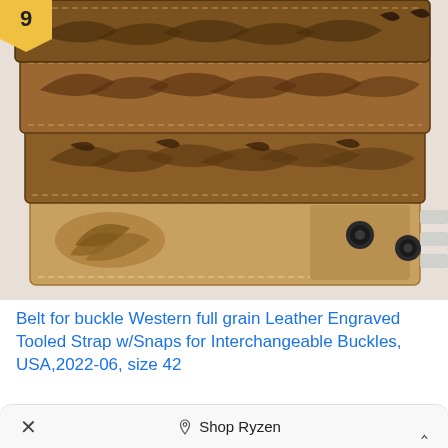[Figure (photo): Coiled brown tooled western leather belt with engraved floral/feather pattern and snap closures, shown folded multiple times on white background. A yellow bookmark/rank badge with number 9 is in the top left corner.]
Belt for buckle Western full grain Leather Engraved Tooled Strap w/Snaps for Interchangeable Buckles, USA,2022-06, size 42
× Shop Ryzen ^